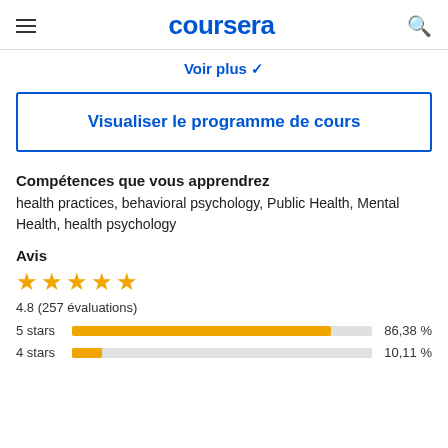coursera
Voir plus
Visualiser le programme de cours
Compétences que vous apprendrez
health practices, behavioral psychology, Public Health, Mental Health, health psychology
Avis
4.8 (257 évaluations)
[Figure (bar-chart): Ratings distribution]